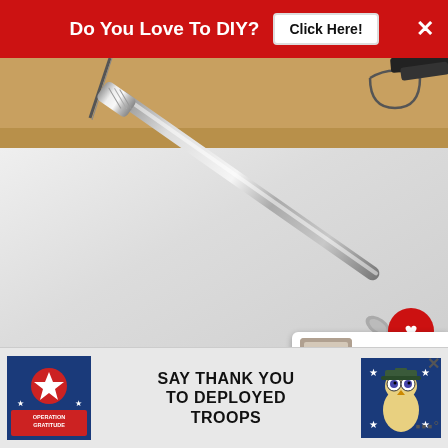[Figure (infographic): Red banner advertisement at top: 'Do You Love To DIY?' with white 'Click Here!' button and X close button]
[Figure (photo): Close-up photo of a metal screwdriver or awl tool with knurled handle and long thin metal shaft, lying on white fabric/cloth, with cardboard and wire/pen visible in background. Watermark 'Exquisitely Unremarkable' in bottom left.]
[Figure (infographic): Bottom advertisement banner for Operation Gratitude: 'SAY THANK YOU TO DEPLOYED TROOPS' with patriotic imagery including stars and an owl character wearing military hat]